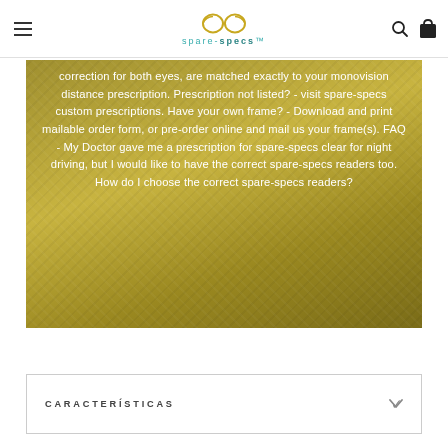spare-specs
[Figure (photo): A golden-toned photo overlay of fabric/cloth texture with white italic text overlaid. The text reads: 'correction for both eyes, are matched exactly to your monovision distance prescription. Prescription not listed? - visit spare-specs custom prescriptions. Have your own frame? - Download and print mailable order form, or pre-order online and mail us your frame(s). FAQ - My Doctor gave me a prescription for spare-specs clear for night driving, but I would like to have the correct spare-specs readers too. How do I choose the correct spare-specs readers?']
CARACTERÍSTICAS